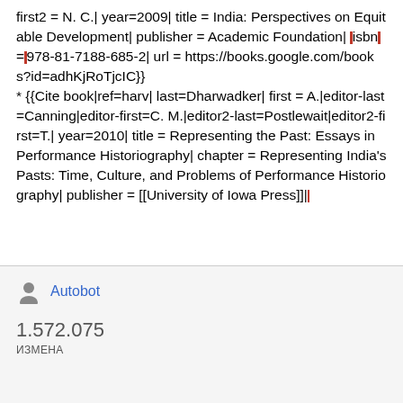first2 = N. C.| year=2009| title = India: Perspectives on Equitable Development| publisher = Academic Foundation| |isbn|=|978-81-7188-685-2| url = https://books.google.com/books?id=adhKjRoTjcIC}} * {{Cite book|ref=harv| last=Dharwadker| first = A.|editor-last=Canning|editor-first=C. M.|editor2-last=Postlewait|editor2-first=T.| year=2010| title = Representing the Past: Essays in Performance Historiography| chapter = Representing India's Pasts: Time, Culture, and Problems of Performance Historiography| publisher = [[University of Iowa Press]]|
Autobot
1.572.075
ИЗМЕНА